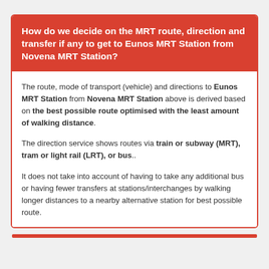How do we decide on the MRT route, direction and transfer if any to get to Eunos MRT Station from Novena MRT Station?
The route, mode of transport (vehicle) and directions to Eunos MRT Station from Novena MRT Station above is derived based on the best possible route optimised with the least amount of walking distance.
The direction service shows routes via train or subway (MRT), tram or light rail (LRT), or bus..
It does not take into account of having to take any additional bus or having fewer transfers at stations/interchanges by walking longer distances to a nearby alternative station for best possible route.